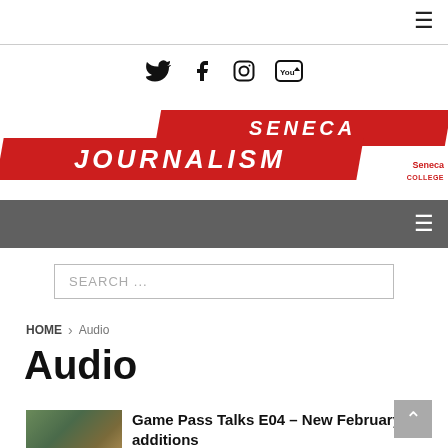[Figure (logo): Hamburger menu icon top right]
[Figure (logo): Social media icons: Twitter, Facebook, Instagram, YouTube]
[Figure (logo): Seneca Journalism logo with red parallelogram banner and Seneca College wordmark]
[Figure (screenshot): Dark grey navigation bar with hamburger menu icon]
SEARCH ...
HOME > Audio
Audio
[Figure (photo): Thumbnail image for article]
Game Pass Talks E04 – New February additions